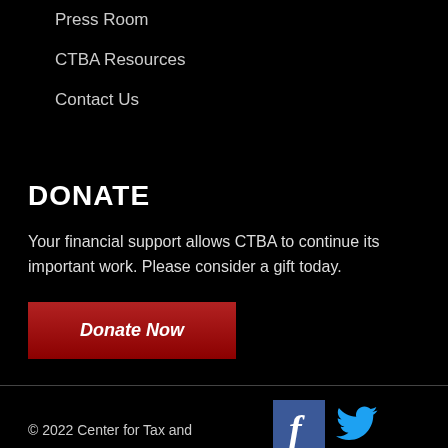Press Room
CTBA Resources
Contact Us
DONATE
Your financial support allows CTBA to continue its important work. Please consider a gift today.
Donate Now
[Figure (logo): Facebook icon (blue square with white f) and Twitter icon (blue bird)]
© 2022 Center for Tax and